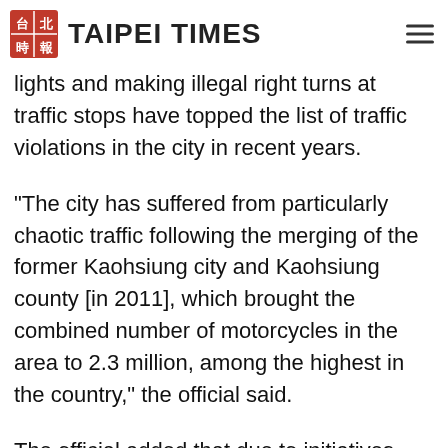TAIPEI TIMES
An official at the Greater Kaohsiung Government's acknowledged that running red lights and making illegal right turns at traffic stops have topped the list of traffic violations in the city in recent years.
“The city has suffered from particularly chaotic traffic following the merging of the former Kaohsiung city and Kaohsiung county [in 2011], which brought the combined number of motorcycles in the area to 2.3 million, among the highest in the country,” the official said.
The official added that due to initiatives such as educational advertisement campaigns and the implementation of harsher punishments for traffic regulation violators, the traffc in the city had improved noticeably.
“However, we admit that there is still plenty of room for